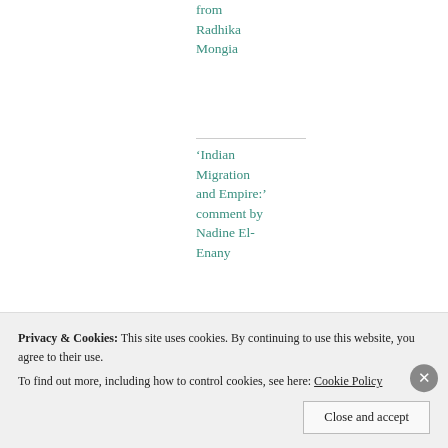from Radhika Mongia
'Indian Migration and Empire:' comment by Nadine El-Enany
'Indian Migration and Empire': comment by
Privacy & Cookies: This site uses cookies. By continuing to use this website, you agree to their use.
To find out more, including how to control cookies, see here: Cookie Policy
Close and accept